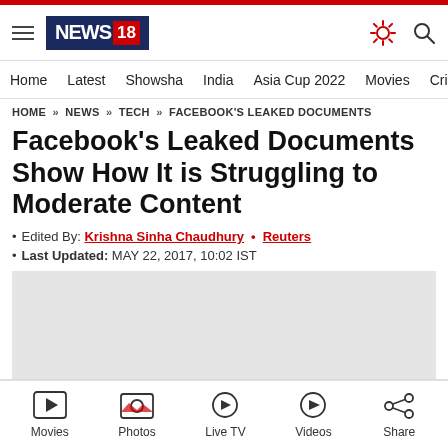[Figure (logo): News18 logo with blue background and red 18 badge]
Home   Latest   Showsha   India   Asia Cup 2022   Movies   Cricket
HOME » NEWS » TECH » FACEBOOK'S LEAKED DOCUMENTS
Facebook's Leaked Documents Show How It is Struggling to Moderate Content
• Edited By: Krishna Sinha Chaudhury • Reuters
• Last Updated: MAY 22, 2017, 10:02 IST
[Figure (other): Advertisement placeholder gray box with X close button]
Movies   Photos   Live TV   Videos   Share